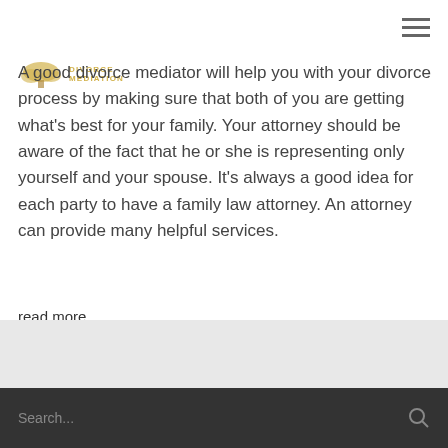[Figure (logo): Small decorative logo icon with gold tree/foliage and text 'DIVORCE MEDIATION' in gold uppercase letters]
A good divorce mediator will help you with your divorce process by making sure that both of you are getting what's best for your family. Your attorney should be aware of the fact that he or she is representing only yourself and your spouse. It's always a good idea for each party to have a family law attorney. An attorney can provide many helpful services.
read more
READ MORE >